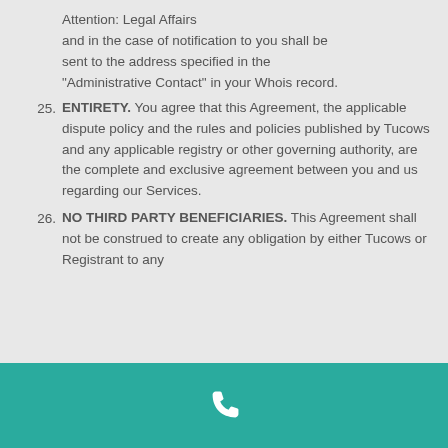Attention: Legal Affairs and in the case of notification to you shall be sent to the address specified in the “Administrative Contact” in your Whois record.
25. ENTIRETY. You agree that this Agreement, the applicable dispute policy and the rules and policies published by Tucows and any applicable registry or other governing authority, are the complete and exclusive agreement between you and us regarding our Services.
26. NO THIRD PARTY BENEFICIARIES. This Agreement shall not be construed to create any obligation by either Tucows or Registrant to any
[Figure (other): Teal footer bar with white telephone handset icon]